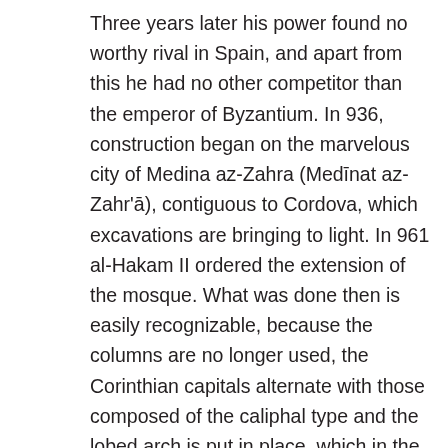Three years later his power found no worthy rival in Spain, and apart from this he had no other competitor than the emperor of Byzantium. In 936, construction began on the marvelous city of Medina az-Zahra (Medīnat az-Zahr'ā), contiguous to Cordova, which excavations are bringing to light. In 961 al-Hakam II ordered the extension of the mosque. What was done then is easily recognizable, because the columns are no longer used, the Corinthian capitals alternate with those composed of the caliphal type and the lobed arch is put in place, which in the East was only decorative. To give light to the building which had already become immense, the crossing of the arches was invented, which leaves a sort of starry dome, an artifice no less beautiful than fruitful, because it was based on the same principle that the ribbed vaults should have been based on. mi ḥ rab, covered by a shell-shaped vault, with mosaics, marbles, etc. Almanzor (al Mansūr) had the mosque enlarged again without introducing any other innovation other than the use of the horseshoe arch with